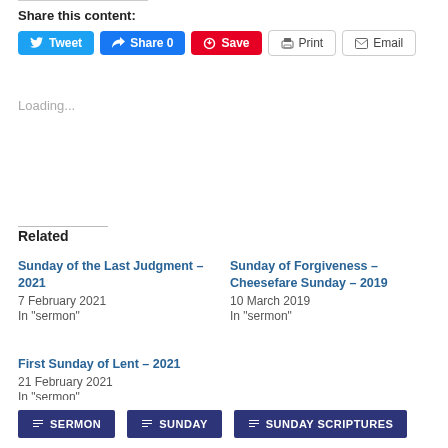Share this content:
[Figure (screenshot): Social sharing buttons: Tweet (blue), Share 0 (Facebook blue), Save (Pinterest red), Print (gray outline), Email (gray outline)]
Loading...
Related
Sunday of the Last Judgment – 2021
7 February 2021
In "sermon"
Sunday of Forgiveness – Cheesefare Sunday – 2019
10 March 2019
In "sermon"
First Sunday of Lent – 2021
21 February 2021
In "sermon"
SERMON   SUNDAY   SUNDAY SCRIPTURES